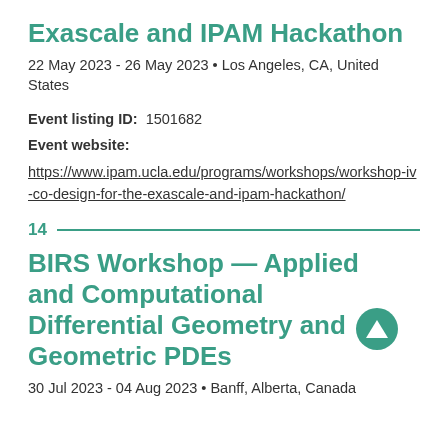Exascale and IPAM Hackathon
22 May 2023 - 26 May 2023 • Los Angeles, CA, United States
Event listing ID:  1501682
Event website:
https://www.ipam.ucla.edu/programs/workshops/workshop-iv-co-design-for-the-exascale-and-ipam-hackathon/
14
BIRS Workshop — Applied and Computational Differential Geometry and Geometric PDEs
30 Jul 2023 - 04 Aug 2023 • Banff, Alberta, Canada